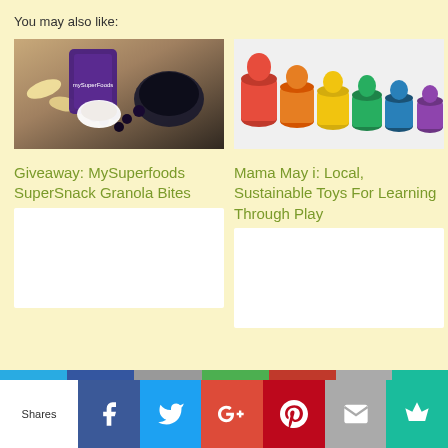You may also like:
[Figure (photo): MySuperfoods SuperSnack Granola Bites product bag with blueberries and oats on a wooden surface]
Giveaway: MySuperfoods SuperSnack Granola Bites
[Figure (photo): Colorful wooden rainbow stacking toys lined up in a row]
Mama May i: Local, Sustainable Toys For Learning Through Play
[Figure (other): White placeholder card]
[Figure (other): White placeholder card]